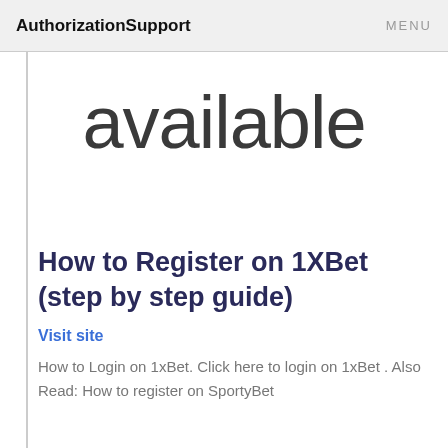AuthorizationSupport   MENU
available
How to Register on 1XBet (step by step guide)
Visit site
How to Login on 1xBet. Click here to login on 1xBet . Also Read: How to register on SportyBet